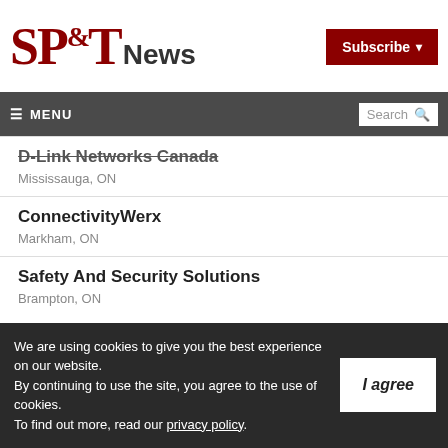SP&T News | Subscribe
≡ MENU | Search
D-Link Networks Canada
Mississauga, ON
ConnectivityWerx
Markham, ON
Safety And Security Solutions
Brampton, ON
We are using cookies to give you the best experience on our website. By continuing to use the site, you agree to the use of cookies. To find out more, read our privacy policy.